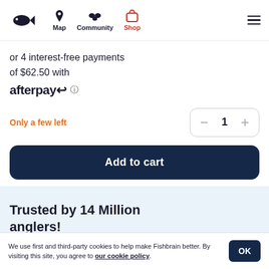Map  Community  Shop
or 4 interest-free payments of $62.50 with afterpay
Only a few left
1
Add to cart
Trusted by 14 Million anglers!
We use first and third-party cookies to help make Fishbrain better. By visiting this site, you agree to our cookie policy.